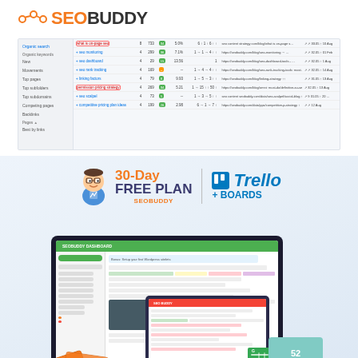[Figure (logo): SEOBuddy logo with orange graph icon and SEO in orange, BUDDY in dark text]
[Figure (screenshot): Google Search Console or SEO dashboard screenshot showing keyword data table with columns for queries, clicks, impressions, CTR, position, and URLs. Some rows highlighted with red borders.]
[Figure (infographic): SEOBuddy 30-Day Free Plan + Trello Boards promotional banner with buddy mascot icon and Trello logo]
[Figure (screenshot): Product mockup showing laptop and tablet with SEOBuddy dashboard interface, cards, and 52-week content planning calendar badge]